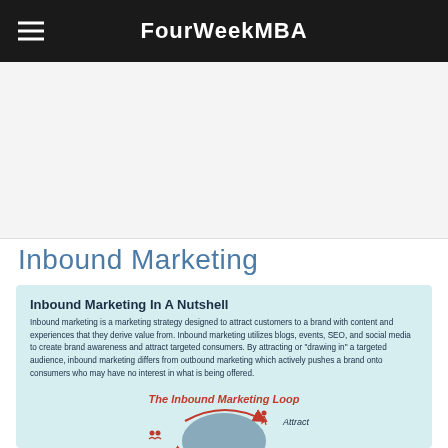FourWeekMBA
[Figure (other): Advertisement / blank ad placeholder area]
Inbound Marketing
Inbound Marketing In A Nutshell
Inbound marketing is a marketing strategy designed to attract customers to a brand with content and experiences that they derive value from. Inbound marketing utilizes blogs, events, SEO, and social media to create brand awareness and attract targeted consumers. By attracting or "drawing in" a targeted audience, inbound marketing differs from outbound marketing which actively pushes a brand onto consumers who may have no interest in what is being offered.
[Figure (infographic): The Inbound Marketing Loop diagram showing Attract, Delight stages of the inbound marketing loop with a circular arrow graphic]